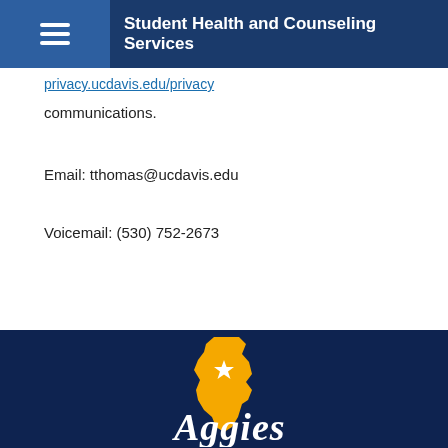Student Health and Counseling Services
communications.
Email: tthomas@ucdavis.edu
Voicemail: (530) 752-2673
[Figure (logo): UC Davis Aggies logo with California state shape in gold/yellow and 'Aggies' script text in white on dark navy blue background]